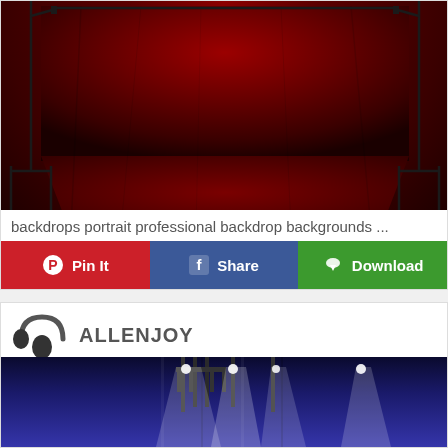[Figure (photo): Red photographic backdrop on stands — a richly textured deep crimson/maroon fabric backdrop suspended on photography light stands, with the fabric draping down to the floor.]
backdrops portrait professional backdrop backgrounds ...
[Figure (infographic): Three social sharing buttons: 'Pin It' (red, with Pinterest icon), 'Share' (blue, with Facebook icon), 'Download' (green, with cloud download icon).]
[Figure (photo): Allenjoy brand logo in upper left, followed by a photo of a blue/purple theatrical curtain backdrop on T-bar stands with bright stage lights shining upward from below.]